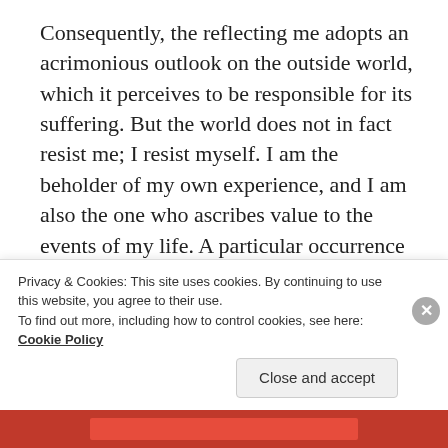Consequently, the reflecting me adopts an acrimonious outlook on the outside world, which it perceives to be responsible for its suffering. But the world does not in fact resist me; I resist myself. I am the beholder of my own experience, and I am also the one who ascribes value to the events of my life. A particular occurrence is only a tragedy or a blessing due to the label that the mind's interpretive filter has attached to it; otherwise, it is totally neutral. Realizing that I am the one generating my negativity, not my circumstances, is the first step in awakening from the…
Privacy & Cookies: This site uses cookies. By continuing to use this website, you agree to their use.
To find out more, including how to control cookies, see here: Cookie Policy